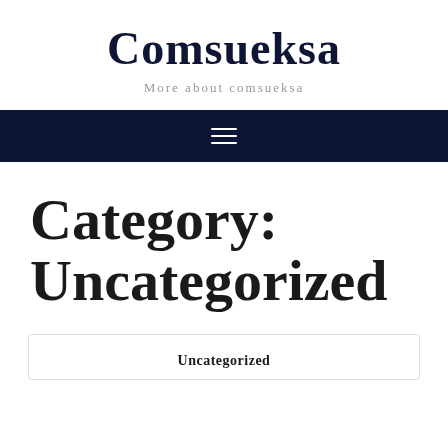Comsueksa
More about comsueksa
[Figure (other): Dark navy navigation bar with hamburger menu icon (three horizontal white lines)]
Category:
Uncategorized
Uncategorized